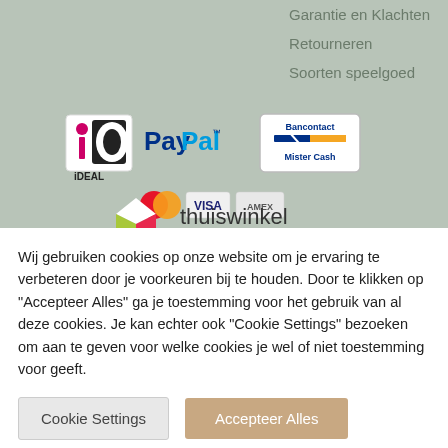Garantie en Klachten
Retourneren
Soorten speelgoed
[Figure (logo): Payment method logos: iDEAL, PayPal, Bancontact Mister Cash, Mastercard, VISA, AMEX]
[Figure (logo): Thuiswinkel waarborg logo with colorful cube icon and text 'thuiswinkel waarborg']
Wij gebruiken cookies op onze website om je ervaring te verbeteren door je voorkeuren bij te houden. Door te klikken op "Accepteer Alles" ga je toestemming voor het gebruik van al deze cookies. Je kan echter ook "Cookie Settings" bezoeken om aan te geven voor welke cookies je wel of niet toestemming voor geeft.
Cookie Settings
Accepteer Alles